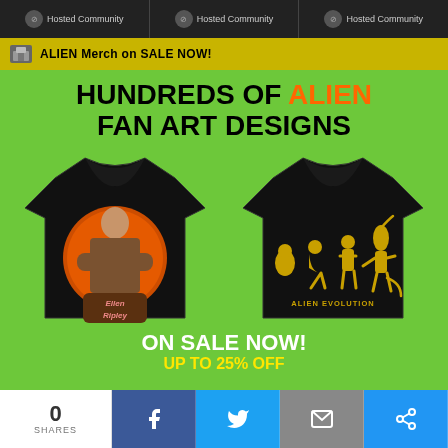Hosted Community | Hosted Community | Hosted Community
ALIEN Merch on SALE NOW!
HUNDREDS OF ALIEN FAN ART DESIGNS
[Figure (photo): Two black t-shirts on green background. Left shirt features Ellen Ripley character art with orange circle design and 'Ellen Ripley' text. Right shirt features yellow Alien Evolution silhouette design.]
ON SALE NOW!
UP TO 25% OFF
0 SHARES
Social sharing bar with Facebook, Twitter, Email, and Share buttons